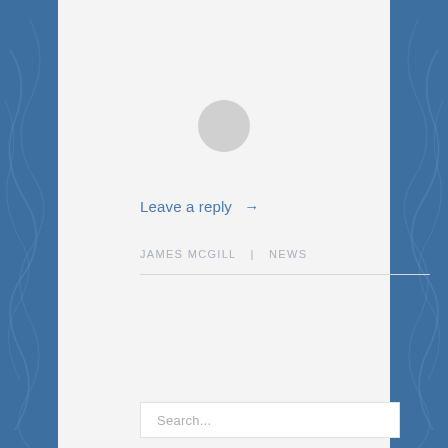[Figure (illustration): Gray circular avatar/profile image placeholder at top of content area]
Leave a reply →
JAMES MCGILL | NEWS
Search...